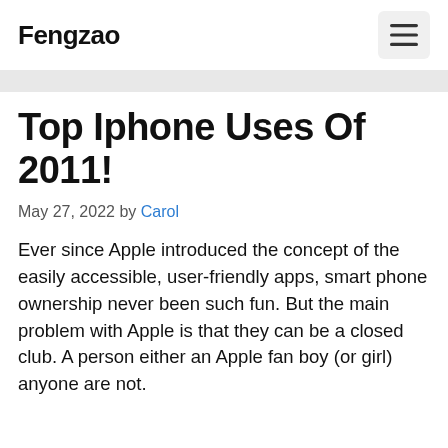Fengzao
Top Iphone Uses Of 2011!
May 27, 2022 by Carol
Ever since Apple introduced the concept of the easily accessible, user-friendly apps, smart phone ownership never been such fun. But the main problem with Apple is that they can be a closed club. A person either an Apple fan boy (or girl) anyone are not.